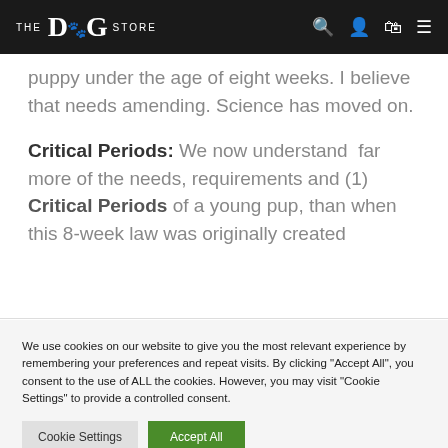THE DOG STORE
puppy under the age of eight weeks. I believe that needs amending. Science has moved on.
Critical Periods: We now understand far more of the needs, requirements and (1) Critical Periods of a young pup, than when this 8-week law was originally created
We use cookies on our website to give you the most relevant experience by remembering your preferences and repeat visits. By clicking "Accept All", you consent to the use of ALL the cookies. However, you may visit "Cookie Settings" to provide a controlled consent.